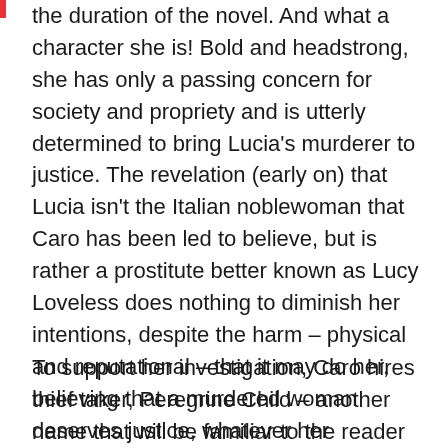the duration of the novel.  And what a character she is!  Bold and headstrong, she has only a passing concern for society and propriety and is utterly determined to bring Lucia's murderer to justice. The revelation (early on) that Lucia isn't the Italian noblewoman that Caro has been led to believe, but is rather a prostitute better known as Lucy Loveless does nothing to diminish her intentions, despite the harm – physical and reputational – that it may do her, believing that a murdered woman deserves justice, whatever her profession. Caro is a joy to read, and I cheered her on shamelessly throughout.
To support her investigation, Caro hires thief taker, Peregrine Child – another name that will be familiar to the reader from Blood & Sugar – to help her...